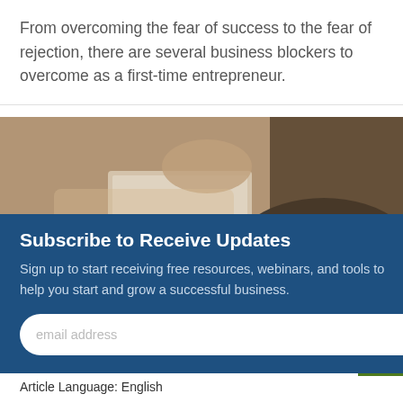From overcoming the fear of success to the fear of rejection, there are several business blockers to overcome as a first-time entrepreneur.
[Figure (photo): A blurred photo of a person handling papers or a document, with warm brown/tan tones, sitting down.]
Subscribe to Receive Updates
Sign up to start receiving free resources, webinars, and tools to help you start and grow a successful business.
Article Language: English